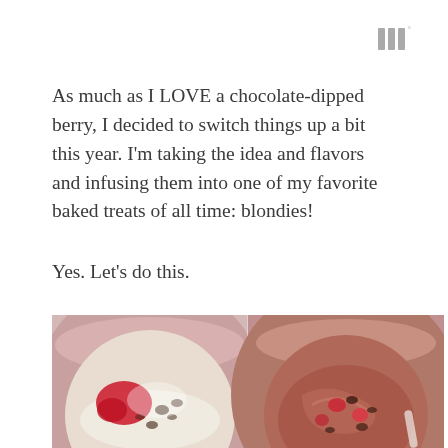[Figure (logo): Three vertical bars logo with superscript degree symbol, gray color]
As much as I LOVE a chocolate-dipped berry, I decided to switch things up a bit this year. I'm taking the idea and flavors and infusing them into one of my favorite baked treats of all time: blondies!
Yes. Let's do this.
[Figure (photo): Two side-by-side photos of mixing bowls. Left bowl shows dry flour mixture with red berries and dark chocolate chips. Right bowl shows the mixed batter with berries and chocolate chips combined into a reddish-brown mixture.]